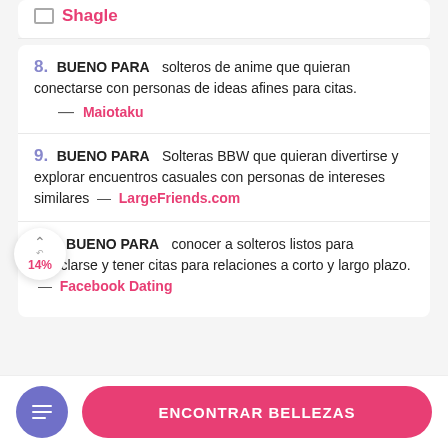Shagle
8. BUENO PARA solteros de anime que quieran conectarse con personas de ideas afines para citas. — Maiotaku
9. BUENO PARA Solteras BBW que quieran divertirse y explorar encuentros casuales con personas de intereses similares — LargeFriends.com
10. BUENO PARA conocer a solteros listos para mezclarse y tener citas para relaciones a corto y largo plazo. — Facebook Dating
14%
ENCONTRAR BELLEZAS